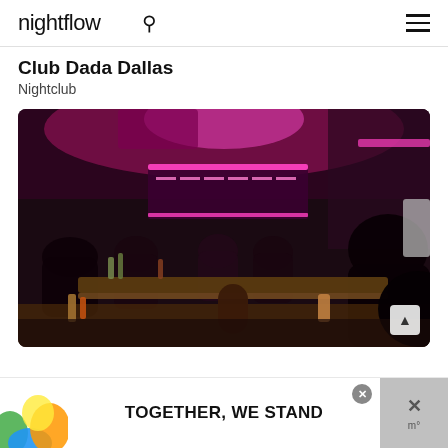nightflow
Club Dada Dallas
Nightclub
[Figure (photo): Interior of Club Dada Dallas nightclub with pink/magenta neon lighting, patrons seated at bar and tables, dark ambiance with glowing ceiling accents.]
[Figure (infographic): Advertisement banner reading TOGETHER, WE STAND with colorful illustrated blobs in blue, green, orange, and yellow on white background.]